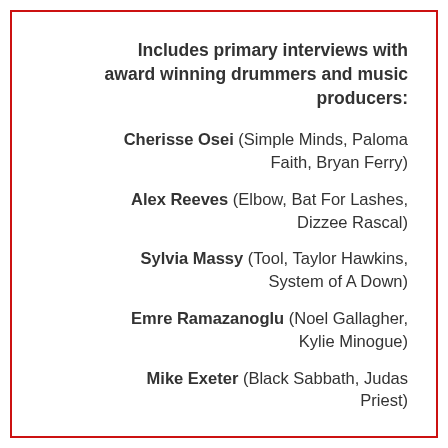Includes primary interviews with award winning drummers and music producers:
Cherisse Osei (Simple Minds, Paloma Faith, Bryan Ferry)
Alex Reeves (Elbow, Bat For Lashes, Dizzee Rascal)
Sylvia Massy (Tool, Taylor Hawkins, System of A Down)
Emre Ramazanoglu (Noel Gallagher, Kylie Minogue)
Mike Exeter (Black Sabbath, Judas Priest)